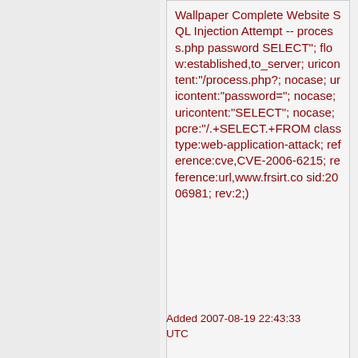Wallpaper Complete Website SQL Injection Attempt -- process.php password SELECT"; flow:established,to_server; uricontent:"/process.php?; nocase; uricontent:"password="; nocase; uricontent:"SELECT"; nocase; pcre:"/.+SELECT.+FROM classtype:web-application-attack; reference:cve,CVE-2006-6215; reference:url,www.frsirt.co sid:2006981; rev:2;)
Added 2007-08-19 22:43:33 UTC